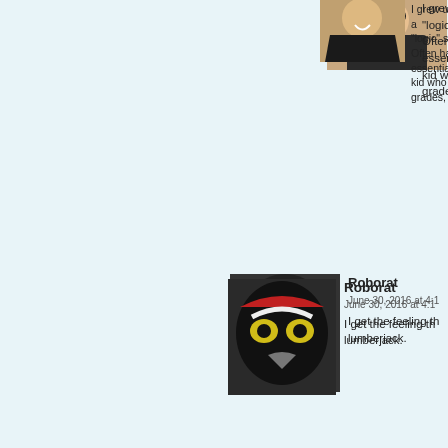[Figure (photo): Partial avatar of a person, cropped, top right corner]
I grew up a
"logic" stri
Often had
essentially
kid who w
grades, so
[Figure (photo): Avatar of Roborat: animated villain character with yellow eyes]
Roborat
June 30, 2016 at 4:1
I get the feeling th
lumberjack.
[Figure (photo): Avatar of Slartibeast: illustrated face with white face paint]
Slartibeast M
June 30, 2016 a
Or a Mason?
[Figure (photo): Avatar of That 70s comment: animated character with curly hair]
That 70s comment
June 30, 2016 at 12:25 am | #
That Pastor Dave hidden comic tex